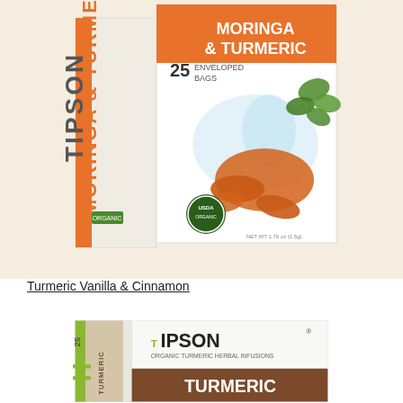[Figure (photo): Tipson Moringa & Turmeric tea box, 25 enveloped bags, USDA Organic certified, showing turmeric root and moringa leaves imagery on packaging]
Turmeric Vanilla & Cinnamon
[Figure (photo): Tipson Organic Turmeric Herbal Infusions tea box showing TIPSON logo and TURMERIC label, with green and brown branding, 25 enveloped bags]